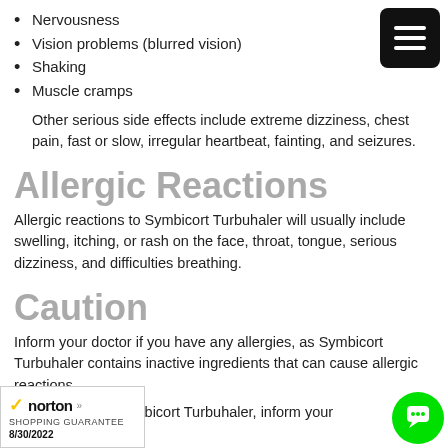Nervousness
Vision problems (blurred vision)
Shaking
Muscle cramps
Other serious side effects include extreme dizziness, chest pain, fast or slow, irregular heartbeat, fainting, and seizures.
Allergic Reactions
Allergic reactions to Symbicort Turbuhaler will usually include swelling, itching, or rash on the face, throat, tongue, serious dizziness, and difficulties breathing.
Caution
Inform your doctor if you have any allergies, as Symbicort Turbuhaler contains inactive ingredients that can cause allergic reactions.
Before you use Symbicort Turbuhaler, inform your